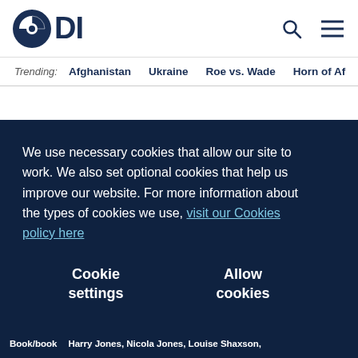ODI logo, search icon, menu icon
Trending: Afghanistan  Ukraine  Roe vs. Wade  Horn of Af
We use necessary cookies that allow our site to work. We also set optional cookies that help us improve our website. For more information about the types of cookies we use, visit our Cookies policy here
Cookie settings | Allow cookies
Book/book   Harry Jones, Nicola Jones, Louise Shaxson,